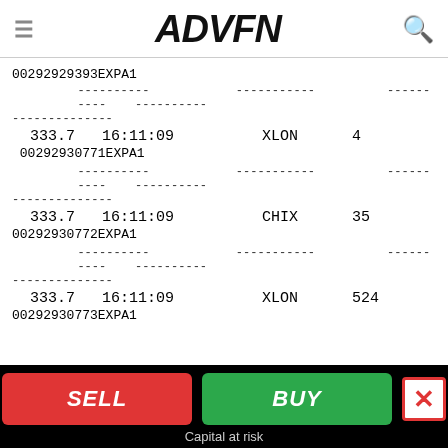ADVFN
00292929393EXPA1
----------  ------------------------  ----------  ----------  ----------
--------------
333.7    16:11:09    XLON    4
00292930771EXPA1
----------  ------------------------  ----------  ----------  ----------
--------------
333.7    16:11:09    CHIX    35
00292930772EXPA1
----------  ------------------------  ----------  ----------  ----------
--------------
333.7    16:11:09    XLON    524
00292930773EXPA1
SELL   BUY   Capital at risk